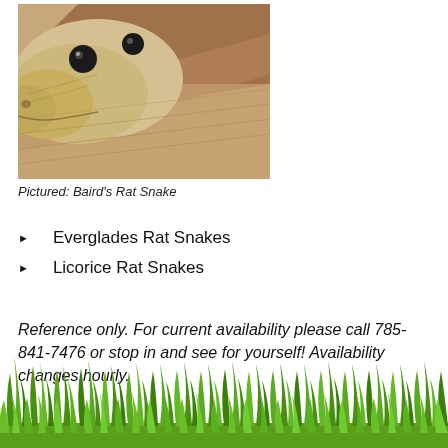[Figure (photo): Close-up photo of a Baird's Rat Snake face and upper body, showing tan/cream coloring with dark eyes]
Pictured: Baird's Rat Snake
Everglades Rat Snakes
Licorice Rat Snakes
Reference only. For current availability please call 785-841-7476 or stop in and see for yourself! Availability changes hourly.
[Figure (illustration): Decorative green grass illustration along the bottom of the page]